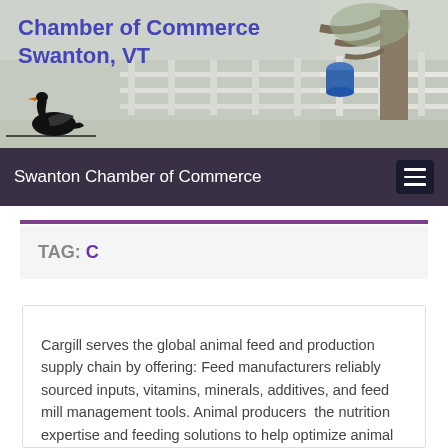[Figure (illustration): Chamber of Commerce Swanton VT header banner with swan logo and outdoor background photo showing fenced area with trees]
Chamber of Commerce
Swanton, VT
Swanton Chamber of Commerce
TAG: C
Cargill serves the global animal feed and production supply chain by offering: Feed manufacturers reliably sourced inputs, vitamins, minerals, additives, and feed mill management tools. Animal producers  the nutrition expertise and feeding solutions to help optimize animal production operations for long-term gains. Feed retailers  the on-trend, branded products to drive business results.  http://www.cargill.com/food/index.jsp